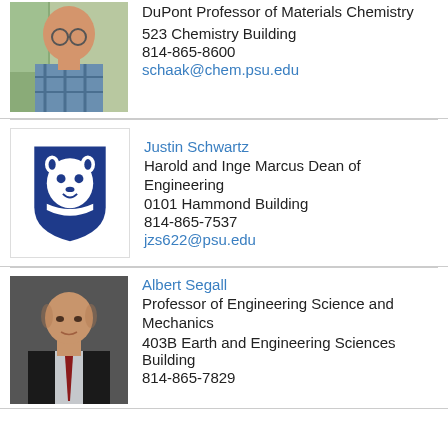[Figure (photo): Photo of Raymond Schaak, a bald man with glasses wearing a plaid shirt]
Raymond Schaak
DuPont Professor of Materials Chemistry
523 Chemistry Building
814-865-8600
schaak@chem.psu.edu
[Figure (logo): Penn State Nittany Lion logo on blue shield background]
Justin Schwartz
Harold and Inge Marcus Dean of Engineering
0101 Hammond Building
814-865-7537
jzs622@psu.edu
[Figure (photo): Photo of Albert Segall, an older bald man in a dark suit with a red tie]
Albert Segall
Professor of Engineering Science and Mechanics
403B Earth and Engineering Sciences Building
814-865-7829